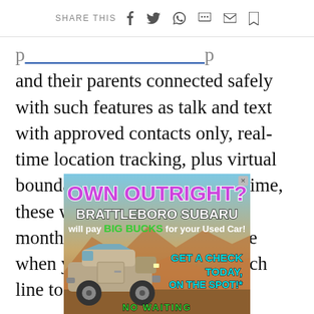SHARE THIS
and their parents connected safely with such features as talk and text with approved contacts only, real-time location tracking, plus virtual boundary alerts. For a limited time, these watches are free with 24 monthly bill credits at T-Mobile when you add a qualifying watch line to your current rate plan.
[Figure (infographic): Advertisement for Brattleboro Subaru showing text 'OWN OUTRIGHT? BRATTLEBORO SUBARU will pay BIG BUCKS for your Used Car! GET A CHECK TODAY, ON THE SPOT!* NO WAITING' with an image of a Jeep/SUV against a desert background.]